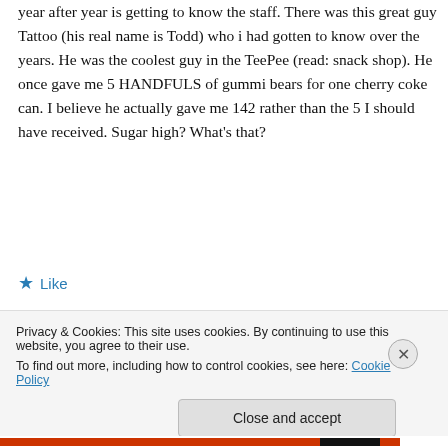year after year is getting to know the staff. There was this great guy Tattoo (his real name is Todd) who i had gotten to know over the years. He was the coolest guy in the TeePee (read: snack shop). He once gave me 5 HANDFULS of gummi bears for one cherry coke can. I believe he actually gave me 142 rather than the 5 I should have received. Sugar high? What's that?
★ Like
↩ Reply
Privacy & Cookies: This site uses cookies. By continuing to use this website, you agree to their use.
To find out more, including how to control cookies, see here: Cookie Policy
Close and accept